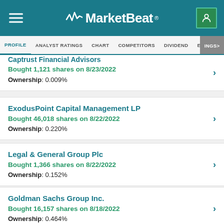MarketBeat
PROFILE  ANALYST RATINGS  CHART  COMPETITORS  DIVIDEND  EARNINGS
Captrust Financial Advisors
Bought 1,121 shares on 8/23/2022
Ownership: 0.009%
ExodusPoint Capital Management LP
Bought 46,018 shares on 8/22/2022
Ownership: 0.220%
Legal & General Group Plc
Bought 1,366 shares on 8/22/2022
Ownership: 0.152%
Goldman Sachs Group Inc.
Bought 16,157 shares on 8/18/2022
Ownership: 0.464%
Macquarie Group Ltd